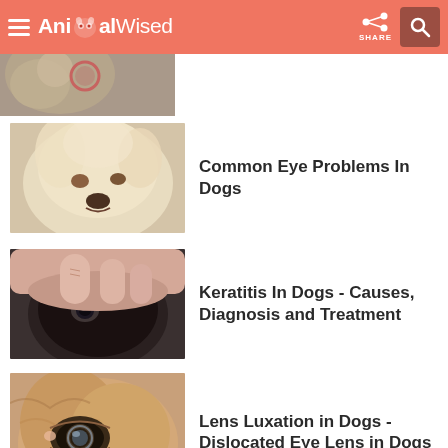AnimalWised
[Figure (photo): Partial view of a dog's face/ear close-up - cropped at top]
[Figure (photo): Close-up of a fluffy light-colored small dog face]
Common Eye Problems In Dogs
[Figure (photo): Hands examining the eye of a black pug dog]
Keratitis In Dogs - Causes, Diagnosis and Treatment
[Figure (photo): Close-up of a dog eye showing lens luxation - brown/golden dog]
Lens Luxation in Dogs - Dislocated Eye Lens in Dogs